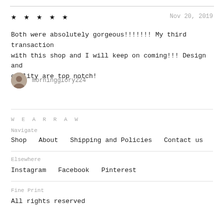★★★★★   Nov 20, 2019
Both were absolutely gorgeous!!!!!!! My third transaction with this shop and I will keep on coming!!! Design and quality are top notch!
morningglory224
W E A R R A W
Navigate
Shop    About    Shipping and Policies    Contact us
Elsewhere
Instagram    Facebook    Pinterest
Fine Print
All rights reserved